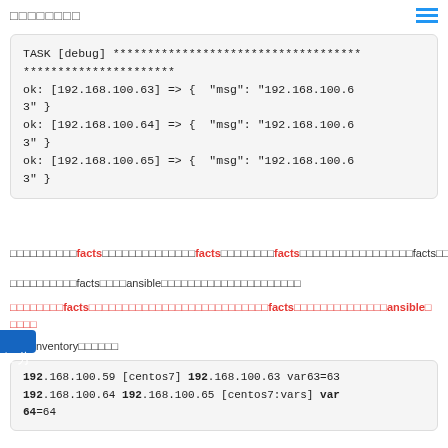□□□□□□□□
TASK [debug] ************************************
**********************
ok: [192.168.100.63] => {  "msg": "192.168.100.63" }
ok: [192.168.100.64] => {  "msg": "192.168.100.63" }
ok: [192.168.100.65] => {  "msg": "192.168.100.63" }
□□□□□□□□□□facts□□□□□□□□□□□□□□facts□□□□□□□□facts□□□□□□□□□□□□□□□□□facts□□□□□□
□□□□□□□□□□facts□□□□ansible□□□□□□□□□□□□□□□□□□□□□
□□□□□□□□facts□□□□□□□□□□□□□□□□□□□□□□□□□□□facts□□□□□□□□□□□□□□ansible□
□□□□
nventory□□□□□□
192.168.100.59 [centos7] 192.168.100.63 var63=63
192.168.100.64 192.168.100.65 [centos7:vars] var64=64